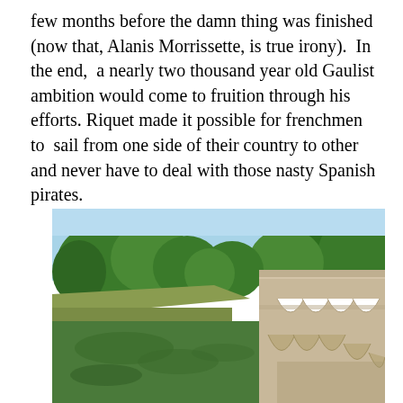few months before the damn thing was finished (now that, Alanis Morrissette, is true irony).  In the end,  a nearly two thousand year old Gaulist ambition would come to fruition through his efforts. Riquet made it possible for frenchmen to  sail from one side of their country to other and never have to deal with those nasty Spanish pirates.
[Figure (photo): Outdoor photograph of a stone aqueduct bridge with multiple arches spanning a wide, calm green river, surrounded by lush green trees under a clear blue sky. The bridge is made of light-colored stone with a parapet wall on top.]